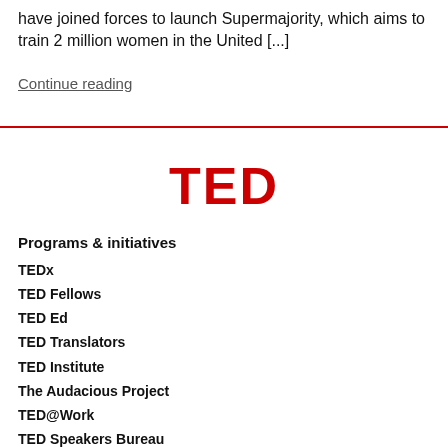have joined forces to launch Supermajority, which aims to train 2 million women in the United [...]
Continue reading
[Figure (logo): TED logo in bold red text]
Programs & initiatives
TEDx
TED Fellows
TED Ed
TED Translators
TED Institute
The Audacious Project
TED@Work
TED Speakers Bureau